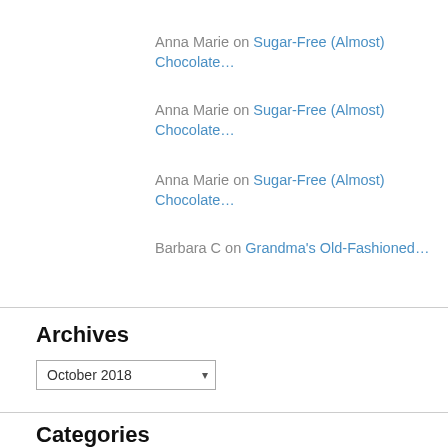Anna Marie on Sugar-Free (Almost) Chocolate…
Anna Marie on Sugar-Free (Almost) Chocolate…
Anna Marie on Sugar-Free (Almost) Chocolate…
Barbara C on Grandma's Old-Fashioned…
Archives
October 2018
Categories